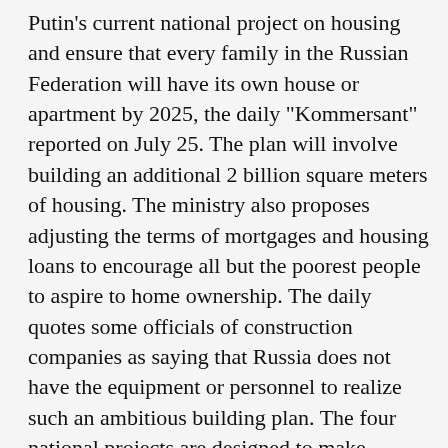Putin's current national project on housing and ensure that every family in the Russian Federation will have its own house or apartment by 2025, the daily "Kommersant" reported on July 25. The plan will involve building an additional 2 billion square meters of housing. The ministry also proposes adjusting the terms of mortgages and housing loans to encourage all but the poorest people to aspire to home ownership. The daily quotes some officials of construction companies as saying that Russia does not have the equipment or personnel to realize such an ambitious building plan. The four national projects are designed to make radical improvements in agriculture, education, health care, and housing. PM
RUSSIAN REGIONAL PROSECUTOR WARNS AGAINST ETHNIC STRIFE